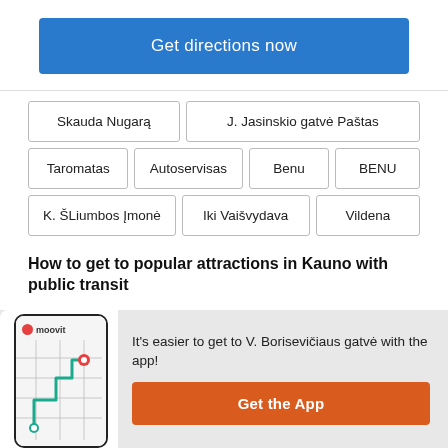Get directions now
Skauda Nugarą
J. Jasinskio gatvė Paštas
Taromatas
Autoservisas
Benu
BENU
K. ŠLiumbos Įmonė
Iki Vaišvydava
Vildena
How to get to popular attractions in Kauno with public transit
[Figure (screenshot): Moovit app screenshot showing a map route with a green path between two points]
It's easier to get to V. Borisevičiaus gatvė with the app!
Get the App